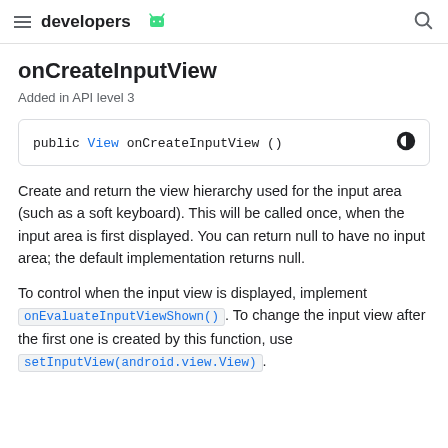developers
onCreateInputView
Added in API level 3
[Figure (screenshot): Code block showing: public View onCreateInputView ()]
Create and return the view hierarchy used for the input area (such as a soft keyboard). This will be called once, when the input area is first displayed. You can return null to have no input area; the default implementation returns null.
To control when the input view is displayed, implement onEvaluateInputViewShown(). To change the input view after the first one is created by this function, use setInputView(android.view.View).